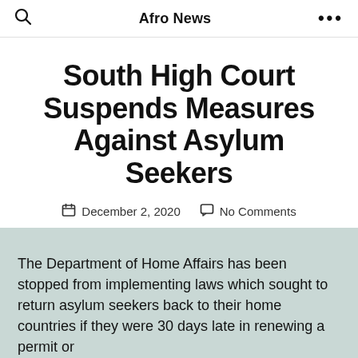Afro News
South High Court Suspends Measures Against Asylum Seekers
December 2, 2020  No Comments
The Department of Home Affairs has been stopped from implementing laws which sought to return asylum seekers back to their home countries if they were 30 days late in renewing a permit or